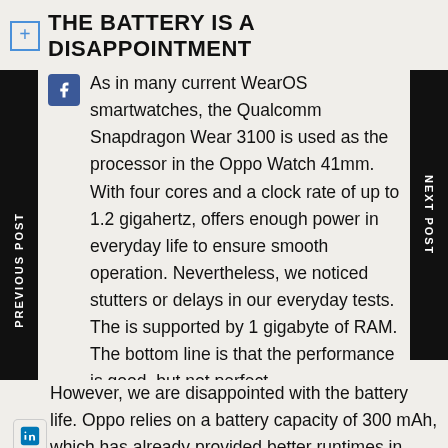THE BATTERY IS A DISAPPOINTMENT
As in many current WearOS smartwatches, the Qualcomm Snapdragon Wear 3100 is used as the processor in the Oppo Watch 41mm. With four cores and a clock rate of up to 1.2 gigahertz, offers enough power in everyday life to ensure smooth operation. Nevertheless, we noticed stutters or delays in our everyday tests. The is supported by 1 gigabyte of RAM. The bottom line is that the performance is good, but not perfect.
However, we are disappointed with the battery life. Oppo relies on a battery capacity of 300 mAh, which has already provided better runtimes in other smartwatches. But the Oppo Watch neither lasted for a full day in our laboratory test